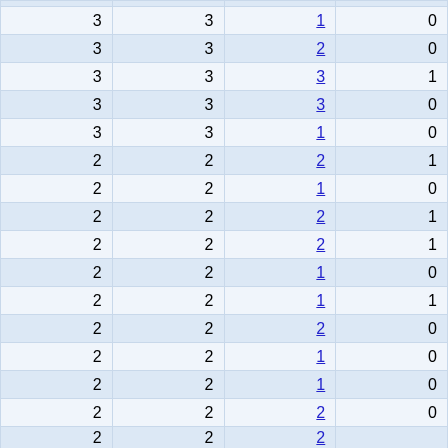| 3 | 3 | 1 | 0 |
| 3 | 3 | 2 | 0 |
| 3 | 3 | 3 | 1 |
| 3 | 3 | 3 | 0 |
| 3 | 3 | 1 | 0 |
| 2 | 2 | 2 | 1 |
| 2 | 2 | 1 | 0 |
| 2 | 2 | 2 | 1 |
| 2 | 2 | 2 | 1 |
| 2 | 2 | 1 | 0 |
| 2 | 2 | 1 | 1 |
| 2 | 2 | 2 | 0 |
| 2 | 2 | 1 | 0 |
| 2 | 2 | 1 | 0 |
| 2 | 2 | 2 | 0 |
| 2 | 2 | 2 | ... |